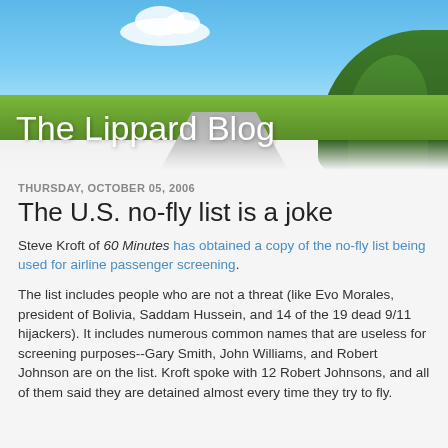[Figure (photo): Header image of a road with blue sky, clouds, green trees and fields representing The Lippard Blog header]
The Lippard Blog
THURSDAY, OCTOBER 05, 2006
The U.S. no-fly list is a joke
Steve Kroft of 60 Minutes has obtained a copy of the no-fly list being used for airline passenger screening.
The list includes people who are not a threat (like Evo Morales, president of Bolivia, Saddam Hussein, and 14 of the 19 dead 9/11 hijackers). It includes numerous common names that are useless for screening purposes--Gary Smith, John Williams, and Robert Johnson are on the list. Kroft spoke with 12 Robert Johnsons, and all of them said they are detained almost every time they try to fly.